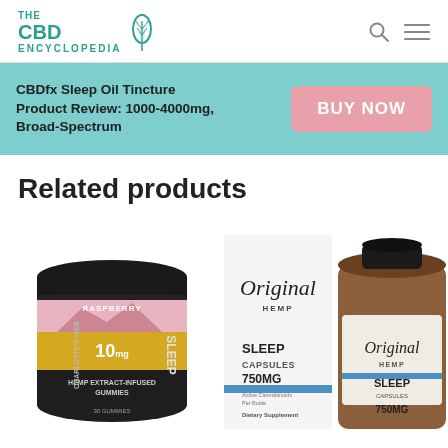THE CBD ENCYCLOPEDIA
CBDfx Sleep Oil Tincture Product Review: 1000-4000mg, Broad-Spectrum
BUY NOW
Related products
[Figure (photo): Charlotte's Web Hemp Extract-Infused Gummies, Raspberry, 10mg, Sleep, 60 gummies jar]
[Figure (photo): Original Hemp Sleep Capsules 750MG product box and bottle]